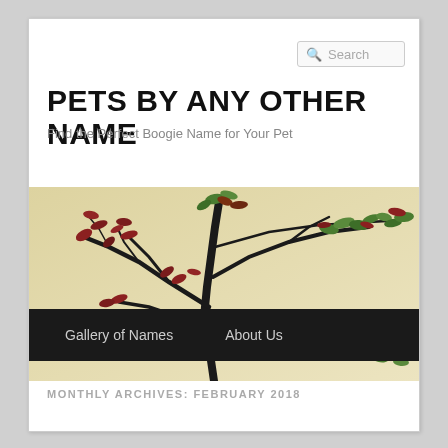Search
PETS BY ANY OTHER NAME
Find the Perfect Boogie Name for Your Pet
[Figure (photo): A bonsai-style tree with sparse red and green leaves against a pale beige/yellow background. Black branches spread upward and outward.]
Gallery of Names   About Us
MONTHLY ARCHIVES: FEBRUARY 2018